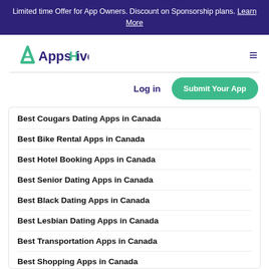Limited time Offer for App Owners. Discount on Sponsorship plans. Learn More
[Figure (logo): AppsHive logo with green geometric A icon and dark blue/green text]
Log in
Submit Your App
Best Cougars Dating Apps in Canada
Best Bike Rental Apps in Canada
Best Hotel Booking Apps in Canada
Best Senior Dating Apps in Canada
Best Black Dating Apps in Canada
Best Lesbian Dating Apps in Canada
Best Transportation Apps in Canada
Best Shopping Apps in Canada